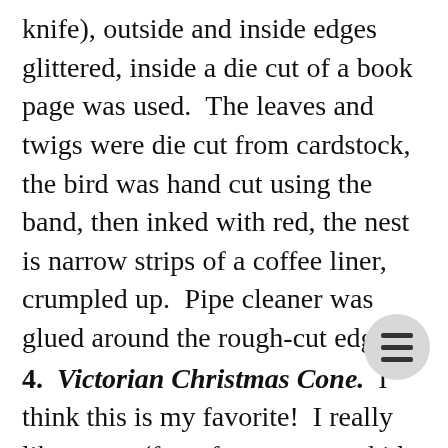knife), outside and inside edges glittered, inside a die cut of a book page was used. The leaves and twigs were die cut from cardstock, the bird was hand cut using the band, then inked with red, the nest is narrow strips of a coffee liner, crumpled up. Pipe cleaner was glued around the rough-cut edge.
4. Victorian Christmas Cone. I think this is my favorite! I really like cones (for a few years my kids had large toile-covered cones instead of Christmas stockings--they preferred the stockings!). The band was used to make the cone. In it was placed more of the coffee f"grass", a small rolled scroll of a computer printout of a Christmas carol tied with bakers' twine, some milliner's berries (found on Etsy)